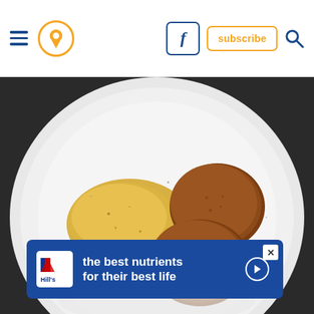Navigation header with hamburger menu, location pin, Facebook icon, subscribe button, and search icon
[Figure (photo): Overhead shot of a white ceramic plate with breaded fried balls/croquettes and a dollop of yellow mustard or hummus sauce, dusted with spices, on a dark surface]
[Figure (infographic): Hill's Pet Nutrition advertisement banner: blue background with Hill's logo on left, text reads 'the best nutrients for their best life', close X button top right, play button on right]